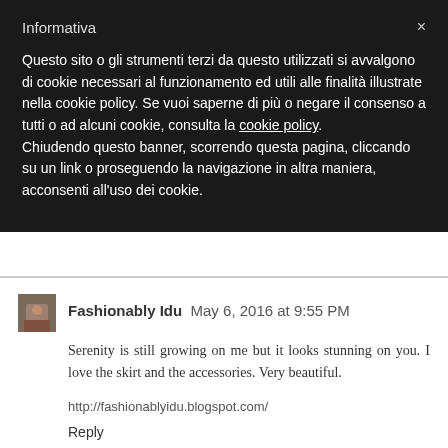Informativa
Questo sito o gli strumenti terzi da questo utilizzati si avvalgono di cookie necessari al funzionamento ed utili alle finalità illustrate nella cookie policy. Se vuoi saperne di più o negare il consenso a tutti o ad alcuni cookie, consulta la cookie policy. Chiudendo questo banner, scorrendo questa pagina, cliccando su un link o proseguendo la navigazione in altra maniera, acconsenti all'uso dei cookie.
Fashionably Idu  May 6, 2016 at 9:55 PM
Serenity is still growing on me but it looks stunning on you. I love the skirt and the accessories. Very beautiful.
http://fashionablyidu.blogspot.com/
Reply